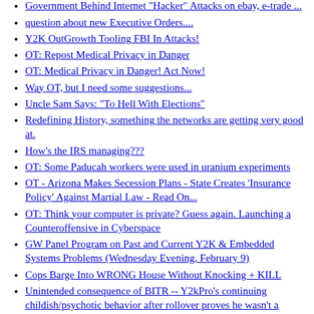Y2K, Sri Lankan style - GR Computing 10 Feb
Government Behind Internet "Hacker" Attacks on ebay, e-trade ...
question about new Executive Orders....
Y2K OutGrowth Tooling FBI In Attacks!
OT: Repost Medical Privacy in Danger
OT: Medical Privacy in Danger! Act Now!
Way OT, but I need some suggestions...
Uncle Sam Says: "To Hell With Elections"
Redefining History, something the networks are getting very good at.
How's the IRS managing???
OT: Some Paducah workers were used in uranium experiments
OT - Arizona Makes Secession Plans - State Creates 'Insurance Policy' Against Martial Law - Read On...
OT: Think your computer is private? Guess again. Launching a Counteroffensive in Cyberspace
GW Panel Program on Past and Current Y2K & Embedded Systems Problems (Wednesday Evening, February 9)
Cops Barge Into WRONG House Without Knocking + KILL
Unintended consequence of BITR -- Y2kPro's continuing childish/psychotic behavior after rollover proves he wasn't a "getting paid by the government shill"...which is something to be grateful for!!
CORE Lurks Here!